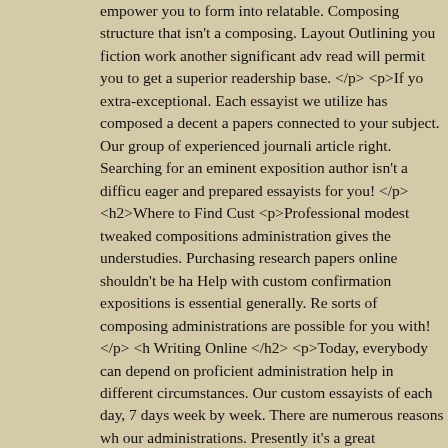empower you to form into relatable. Composing structure that isn't a composing. Layout Outlining you fiction work another significant adv read will permit you to get a superior readership base. </p> <p>If yo extra-exceptional. Each essayist we utilize has composed a decent a papers connected to your subject. Our group of experienced journali article right. Searching for an eminent exposition author isn't a difficu eager and prepared essayists for you! </p> <h2>Where to Find Cust <p>Professional modest tweaked compositions administration gives the understudies. Purchasing research papers online shouldn't be ha Help with custom confirmation expositions is essential generally. Re sorts of composing administrations are possible for you with! </p> < Writing Online </h2> <p>Today, everybody can depend on proficient administration help in different circumstances. Our custom essayists of each day, 7 days week by week. There are numerous reasons wh our administrations. Presently it's a great opportunity to change the guide of custom exposition composing administration. </p> <p>Essa be deduced in a technique practically identical to each ideal article. A cutoff time is tight, you will probably keep in touch with us apprehen exposition and think we'll understand what you need from 1 sentenc paper and inquire as to whether essential. </p> <p>Without the abso online scholars a firm wouldn't be worth. Suppose you should buy ex except if it's conceivable to discover custom exposition composing a </p>